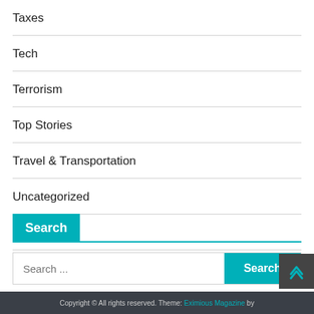Taxes
Tech
Terrorism
Top Stories
Travel & Transportation
Uncategorized
World
Search
Search ...
Copyright © All rights reserved. Theme: Eximious Magazine by